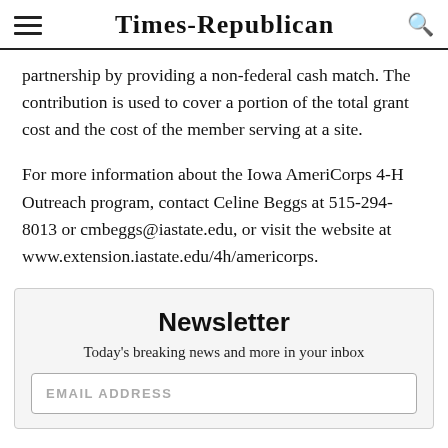Times-Republican
partnership by providing a non-federal cash match. The contribution is used to cover a portion of the total grant cost and the cost of the member serving at a site.
For more information about the Iowa AmeriCorps 4-H Outreach program, contact Celine Beggs at 515-294-8013 or cmbeggs@iastate.edu, or visit the website at www.extension.iastate.edu/4h/americorps.
Newsletter
Today's breaking news and more in your inbox
EMAIL ADDRESS